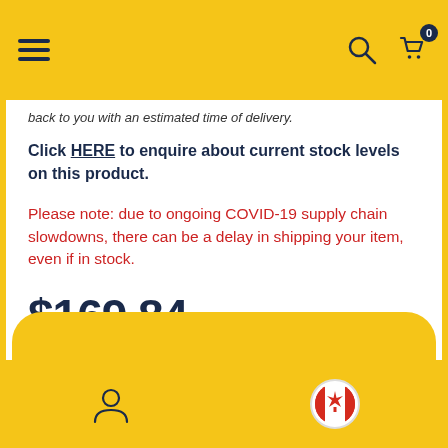Navigation bar with hamburger menu, search icon, and cart icon with badge 0
back to you with an estimated time of delivery.
Click HERE to enquire about current stock levels on this product.
Please note: due to ongoing COVID-19 supply chain slowdowns, there can be a delay in shipping your item, even if in stock.
$169.84
Quantity
1
Bottom navigation bar with user icon and Canadian flag icon